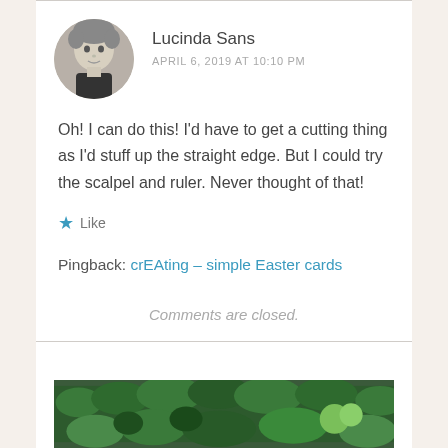[Figure (photo): Circular black and white avatar photo of a young child with light hair]
Lucinda Sans
APRIL 6, 2019 AT 10:10 PM
Oh! I can do this! I'd have to get a cutting thing as I'd stuff up the straight edge. But I could try the scalpel and ruler. Never thought of that!
Like
Pingback: crEAting – simple Easter cards
Comments are closed.
[Figure (photo): Green garden/nature photo strip showing foliage and plants]